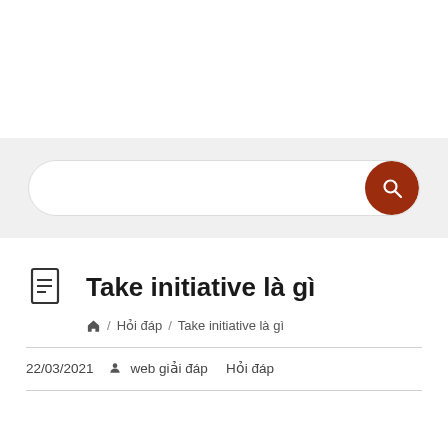[Figure (screenshot): Search bar with white input field and dark red circular search button on gray background]
Take initiative là gì
/ Hỏi đáp / Take initiative là gì
22/03/2021   web giải đáp   Hỏi đáp